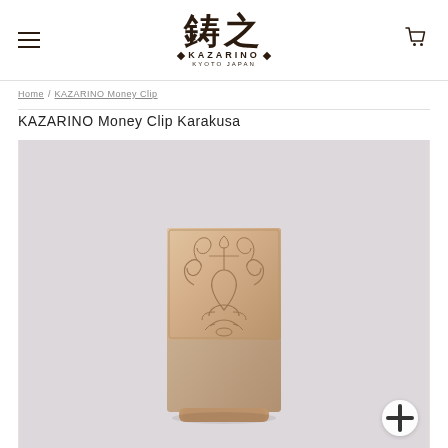KAZARINO KYOTO JAPAN (logo with Japanese kanji 鋳之)
Home / KAZARINO Money Clip
KAZARINO Money Clip Karakusa
[Figure (photo): Product photo of KAZARINO Money Clip Karakusa — a rectangular metal money clip with intricate karakusa (arabesque scroll) engraving on the upper portion in rose gold/copper tone, and a smooth leather or suede lower portion in taupe/brown, photographed on a light lavender-gray background.]